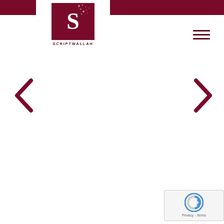[Figure (logo): Scriptwallah logo with stylized S on dark red background and text SCRIPTWALLAH below]
[Figure (other): Hamburger menu icon with three horizontal lines]
[Figure (other): Left navigation arrow chevron in dark red]
[Figure (other): Right navigation arrow chevron in dark red]
[Figure (other): reCAPTCHA badge with Privacy and Terms text]